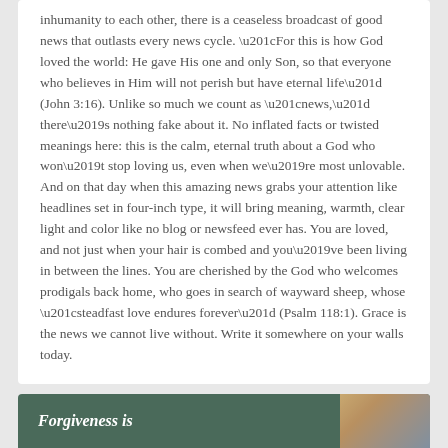inhumanity to each other, there is a ceaseless broadcast of good news that outlasts every news cycle. “For this is how God loved the world: He gave His one and only Son, so that everyone who believes in Him will not perish but have eternal life” (John 3:16). Unlike so much we count as “news,” there’s nothing fake about it. No inflated facts or twisted meanings here: this is the calm, eternal truth about a God who won’t stop loving us, even when we’re most unlovable. And on that day when this amazing news grabs your attention like headlines set in four-inch type, it will bring meaning, warmth, clear light and color like no blog or newsfeed ever has. You are loved, and not just when your hair is combed and you’ve been living in between the lines. You are cherished by the God who welcomes prodigals back home, who goes in search of wayward sheep, whose “steadfast love endures forever” (Psalm 118:1). Grace is the news we cannot live without. Write it somewhere on your walls today.
Forgiveness is